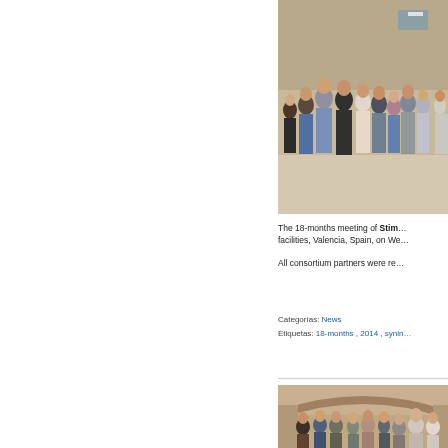[Figure (photo): Group photo of consortium partners standing indoors in a hallway or lobby area, Valencia, Spain]
The 18-months meeting of Stim... facilities, Valencia, Spain, on We...
All consortium partners were re...
Categorías: News
Etiquetas: 18-months , 2014 , synin...
[Figure (photo): Group photo of consortium partners standing indoors, partially visible at bottom of page]